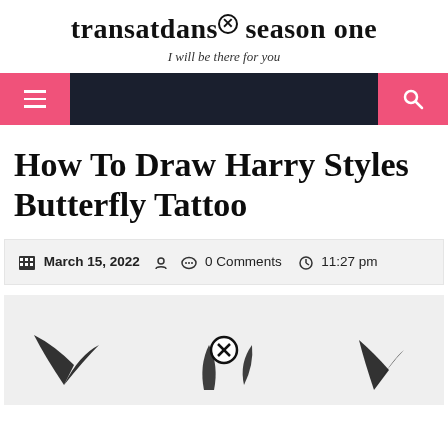transatdans✕ season one
I will be there for you
[Figure (screenshot): Navigation bar with pink hamburger menu button on left, dark background, and pink search button on right]
How To Draw Harry Styles Butterfly Tattoo
March 15, 2022  0 Comments  11:27 pm
[Figure (illustration): Partial view of butterfly tattoo drawing steps on light grey background]